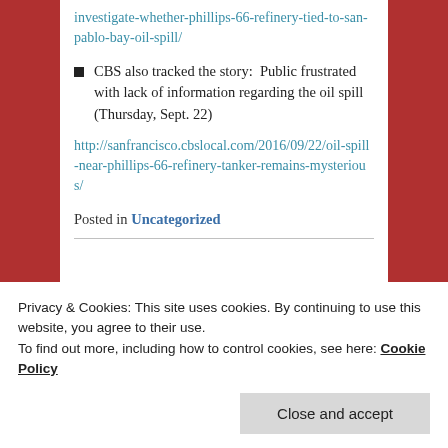https://www.inquirer.org/news/2016/09/22/officials-investigate-whether-phillips-66-refinery-tied-to-san-pablo-bay-oil-spill/
CBS also tracked the story:  Public frustrated with lack of information regarding the oil spill (Thursday, Sept. 22)
http://sanfrancisco.cbslocal.com/2016/09/22/oil-spill-near-phillips-66-refinery-tanker-remains-mysterious/
Posted in Uncategorized
Privacy & Cookies: This site uses cookies. By continuing to use this website, you agree to their use.
To find out more, including how to control cookies, see here: Cookie Policy
Close and accept
federal exemption status for the